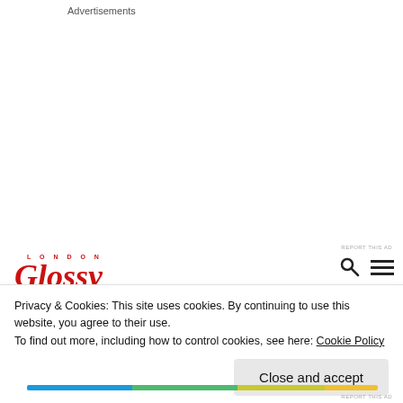Advertisements
REPORT THIS AD
[Figure (logo): London Glossy magazine logo in red italic serif font with 'LONDON' spelled out in small caps above 'Glossy']
Privacy & Cookies: This site uses cookies. By continuing to use this website, you agree to their use.
To find out more, including how to control cookies, see here: Cookie Policy
Close and accept
REPORT THIS AD